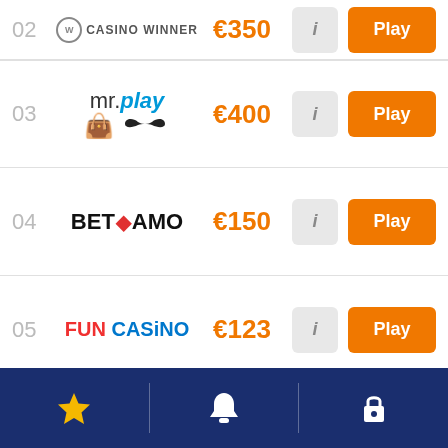02 Casino Winner €350 Play
03 mr.play €400 Play
04 BETAMO €150 Play
05 FUN CASINO €123 Play
06 Royal Panda €100 Play
View all
Navigation bar with star, bell, and lock icons